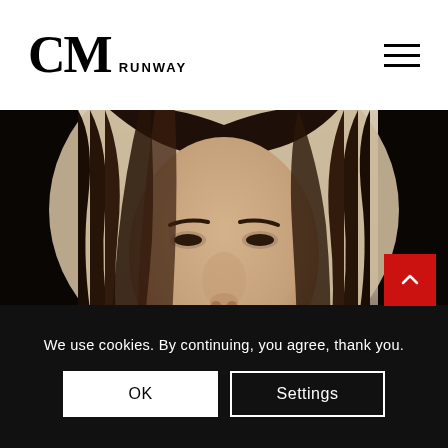CM RUNWAY
[Figure (photo): Close-up portrait photo of a young woman with dark wavy hair, wearing a black sleeveless ribbed top, neutral beige background, no-makeup look with full lips and a beauty mark]
We use cookies. By continuing, you agree, thank you.
OK
Settings